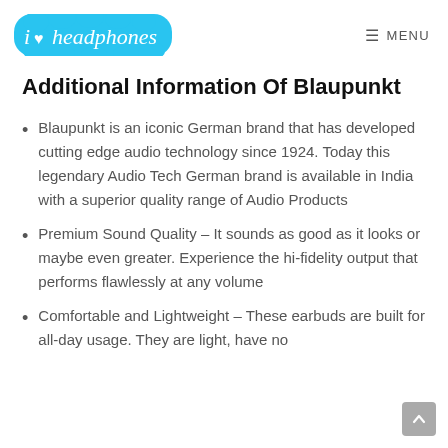iheadphones | MENU
Additional Information Of Blaupunkt
Blaupunkt is an iconic German brand that has developed cutting edge audio technology since 1924. Today this legendary Audio Tech German brand is available in India with a superior quality range of Audio Products
Premium Sound Quality – It sounds as good as it looks or maybe even greater. Experience the hi-fidelity output that performs flawlessly at any volume
Comfortable and Lightweight – These earbuds are built for all-day usage. They are light, have no